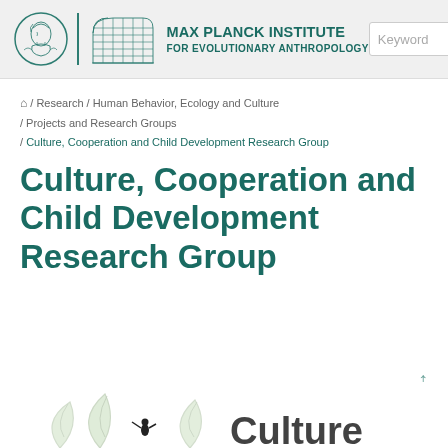[Figure (logo): Max Planck Institute for Evolutionary Anthropology logo with Minerva head circle, vertical divider, building illustration, and institute name text]
[Figure (screenshot): Search box with 'Keyword' placeholder and search icon, plus hamburger menu button]
/ Research / Human Behavior, Ecology and Culture / Projects and Research Groups / Culture, Cooperation and Child Development Research Group
Culture, Cooperation and Child Development Research Group
[Figure (illustration): Partial illustration showing leaves and a small silhouette figure, with the word 'Culture' visible - part of the research group logo]